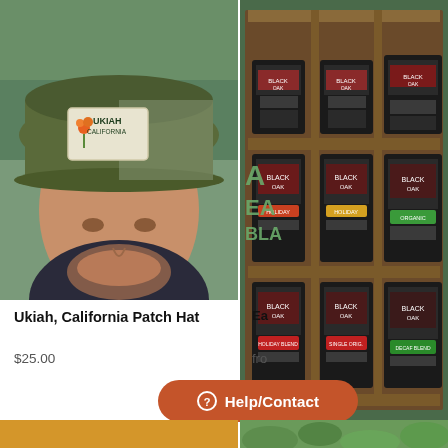[Figure (photo): Man wearing an olive green trucker hat with 'Ukiah California' patch and California poppy design, looking downward, blurred green background]
[Figure (photo): Wooden shelving display unit filled with multiple rows of Black Oak Coffee Roasters branded coffee bags with various colorful labels]
Ukiah, California Patch Hat
$25.00
Ea
fro
Help/Contact